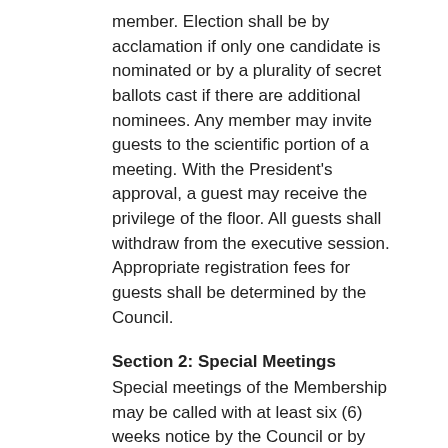member. Election shall be by acclamation if only one candidate is nominated or by a plurality of secret ballots cast if there are additional nominees. Any member may invite guests to the scientific portion of a meeting. With the President's approval, a guest may receive the privilege of the floor. All guests shall withdraw from the executive session. Appropriate registration fees for guests shall be determined by the Council.
Section 2: Special Meetings
Special meetings of the Membership may be called with at least six (6) weeks notice by the Council or by petition of at least twenty-five (25) active members. Only such items as listed in the special meeting notice may be acted upon.
Section 3: Quorum
A quorum for any executive session of the Membership shall equal the number of members